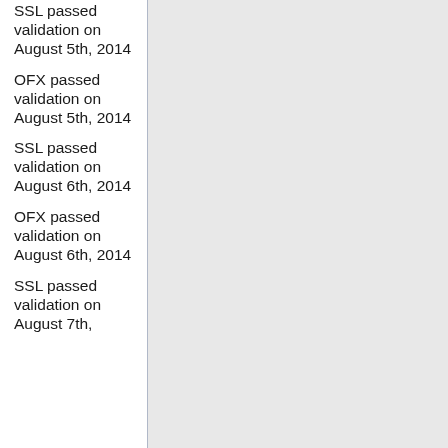SSL passed validation on August 5th, 2014
OFX passed validation on August 5th, 2014
SSL passed validation on August 6th, 2014
OFX passed validation on August 6th, 2014
SSL passed validation on August 7th,